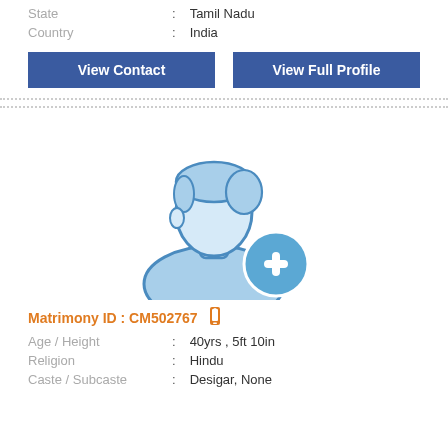State : Tamil Nadu
Country : India
View Contact
View Full Profile
[Figure (illustration): Male silhouette avatar placeholder icon with a blue add/plus circle badge at bottom right]
Matrimony ID : CM502767
Age / Height : 40yrs , 5ft 10in
Religion : Hindu
Caste / Subcaste : Desigar, None